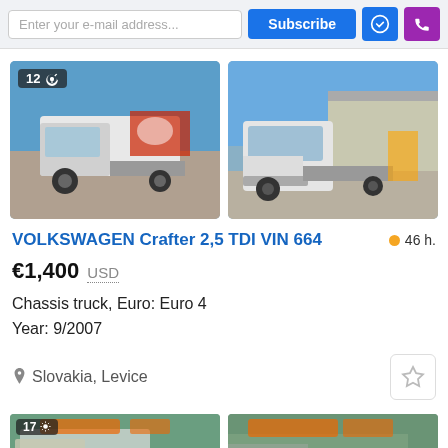[Figure (screenshot): Top navigation bar with email input, Subscribe button, and icon buttons]
[Figure (photo): Volkswagen Crafter chassis truck, left/front view, outdoor parking area, photo count badge showing 12]
[Figure (photo): Volkswagen Crafter chassis truck, front view, outdoor area near warehouse building]
VOLKSWAGEN Crafter 2,5 TDI VIN 664
46 h.
€1,400 USD
Chassis truck, Euro: Euro 4
Year: 9/2007
Slovakia, Levice
[Figure (photo): Bottom listing photo strip showing partial view of another vehicle listing with photo badge 17]
[Figure (photo): Bottom listing second photo strip, partial vehicle listing]